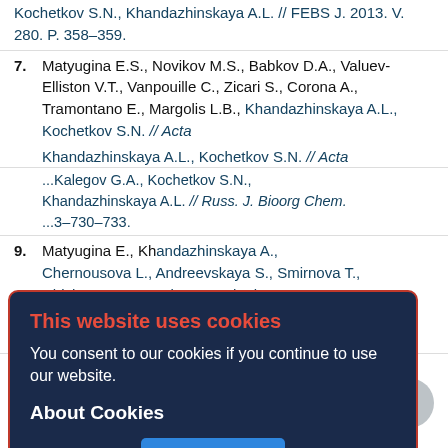Kochetkov S.N., Khandazhinskaya A.L. // FEBS J. 2013. V. 280. P. 358–359.
7. Matyugina E.S., Novikov M.S., Babkov D.A., Valuev-Elliston V.T., Vanpouille C., Zicari S., Corona A., Tramontano E., Margolis L.B., Khandazhinskaya A.L., Kochetkov S.N. // Acta ...3–115.
...Makarov E.G., Seliverstova I.A., Andrianova ...Kalegov G.A., Kochetkov S.N., Khandazhinskaya A.L. // Russ. J. Bioorg Chem. ...3–730–733.
9. Matyugina E., Khandazhinskaya A., Chernousova L., Andreevskaya S., Smirnova T., Chizhov A., Karpenko I., Kochetkov S., Alexandrova L. // Bioorgan. Med. Chem. 2012. V. 20. P. 6680–6686.
10. Matyugina E.S., Andreevskaya S.N., Smirnova T.G., Khandazhinskaya A.L. // Acta Naturae
This website uses cookies
You consent to our cookies if you continue to use our website.
About Cookies
OK